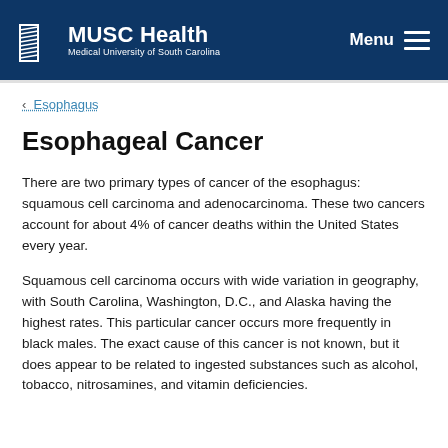MUSC Health — Medical University of South Carolina
< Esophagus
Esophageal Cancer
There are two primary types of cancer of the esophagus: squamous cell carcinoma and adenocarcinoma. These two cancers account for about 4% of cancer deaths within the United States every year.
Squamous cell carcinoma occurs with wide variation in geography, with South Carolina, Washington, D.C., and Alaska having the highest rates. This particular cancer occurs more frequently in black males. The exact cause of this cancer is not known, but it does appear to be related to ingested substances such as alcohol, tobacco, nitrosamines, and vitamin deficiencies.